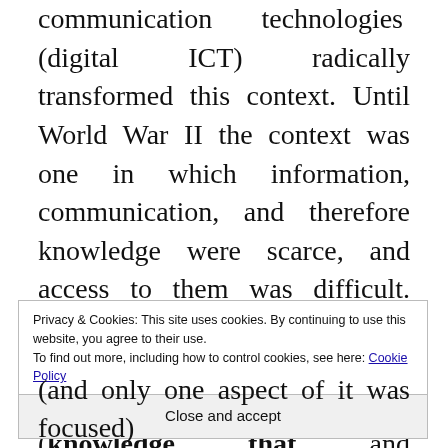communication technologies (digital ICT) radically transformed this context. Until World War II the context was one in which information, communication, and therefore knowledge were scarce, and access to them was difficult. Now the context is one in which information, communication, and therefore knowledge (knowledge that and knowledge how) are abundant, and access to them is easy, at our fingertips
Privacy & Cookies: This site uses cookies. By continuing to use this website, you agree to their use.
To find out more, including how to control cookies, see here: Cookie Policy
Close and accept
(and only one aspect of it was focused)